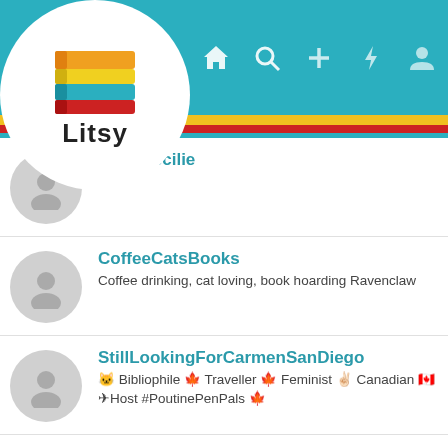[Figure (screenshot): Litsy app logo with stacked colorful books and text 'Litsy' on white circle background]
[Figure (screenshot): Litsy app navigation bar with home, search, plus, lightning, and profile icons on teal background]
AnneCecilie
CoffeeCatsBooks
Coffee drinking, cat loving, book hoarding Ravenclaw
StillLookingForCarmenSanDiego
🐱 Bibliophile 🍁 Traveller 🍁 Feminist ✌🏻 Canadian 🇨🇦 ✈Host #PoutinePenPals 🍁
JamieArc
Bibliophile / Francophile / tea / tiny things / coziness / www.goodreads.com/user/show/5733517-jamie-archer / StoryGraph: jamielit
Erofan